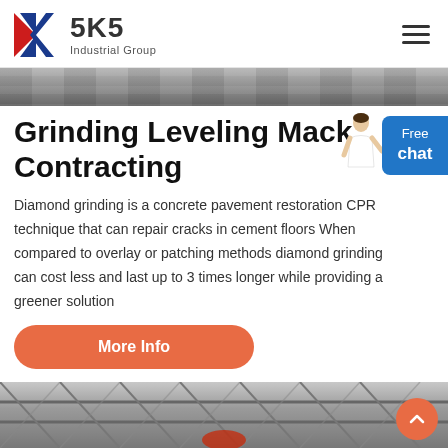SKS Industrial Group
[Figure (photo): Top banner image showing industrial machinery/materials in grayscale]
Grinding Leveling Mack Contracting
Diamond grinding is a concrete pavement restoration CPR technique that can repair cracks in cement floors When compared to overlay or patching methods diamond grinding can cost less and last up to 3 times longer while providing a greener solution
[Figure (photo): Bottom image showing industrial steel structure/building interior]